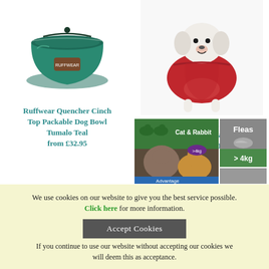[Figure (photo): Ruffwear Quencher Cinch Top Packable Dog Bowl in Tumalo Teal color - a green/teal packable pet bowl]
Ruffwear Quencher Cinch Top Packable Dog Bowl Tumalo Teal
from £32.95
[Figure (photo): Small white dog wearing a red quilted belly coat - Dog Gone Smart Suede Quilted Belly Coat Red]
Dog Gone Smart Suede Quilted Belly Coat Red
from £13.51
[Figure (photo): Advantage flea treatment for Cat & Rabbit over 4kg - product packaging showing cat and rabbit with flea treatment labels]
We use cookies on our website to give you the best service possible. Click here for more information.
Accept Cookies
If you continue to use our website without accepting our cookies we will deem this as acceptance.